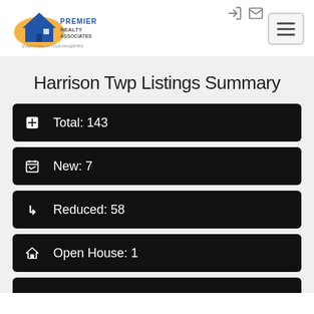[Figure (logo): Premier Realty Associates logo with orange house icon and blue text]
Harrison Twp Listings Summary
Total: 143
New: 7
Reduced: 58
Open House: 1